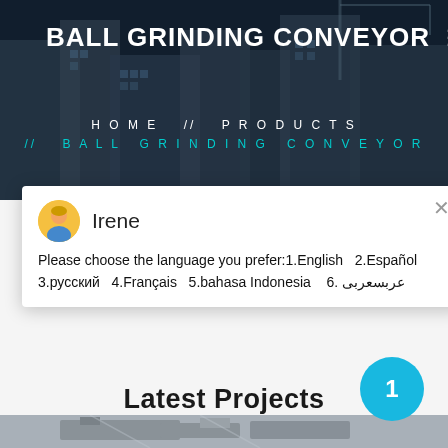BALL GRINDING CONVEYOR
HOME  //  PRODUCTS  //  BALL GRINDING CONVEYOR
[Figure (screenshot): Live chat popup with avatar of Irene, showing language selection message: Please choose the language you prefer:1.English  2.Español  3.русский  4.Français  5.bahasa Indonesia  6. عربسعربى]
Please choose the language you prefer:1.English  2.Español 3.русский  4.Français  5.bahasa Indonesia   6. عربسعربى
Latest Projects
[Figure (photo): Industrial machinery/conveyor equipment in a factory setting]